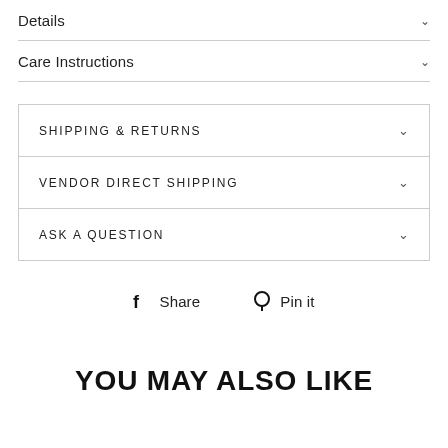Details
Care Instructions
SHIPPING & RETURNS
VENDOR DIRECT SHIPPING
ASK A QUESTION
Share   Pin it
YOU MAY ALSO LIKE